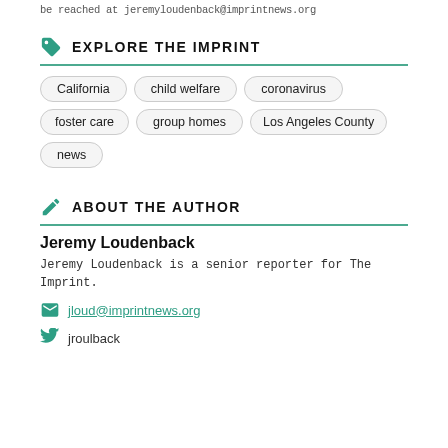be reached at jeremyloudenback@imprintnews.org
EXPLORE THE IMPRINT
California
child welfare
coronavirus
foster care
group homes
Los Angeles County
news
ABOUT THE AUTHOR
Jeremy Loudenback
Jeremy Loudenback is a senior reporter for The Imprint.
jloud@imprintnews.org
jroulback